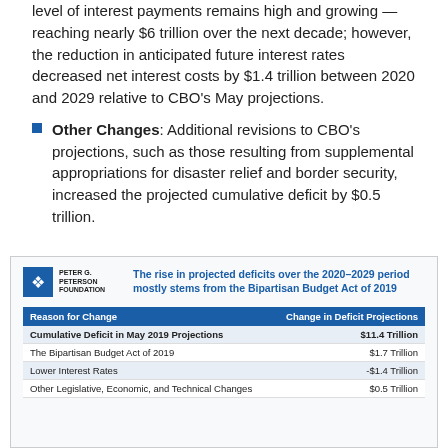level of interest payments remains high and growing — reaching nearly $6 trillion over the next decade; however, the reduction in anticipated future interest rates decreased net interest costs by $1.4 trillion between 2020 and 2029 relative to CBO's May projections.
Other Changes: Additional revisions to CBO's projections, such as those resulting from supplemental appropriations for disaster relief and border security, increased the projected cumulative deficit by $0.5 trillion.
[Figure (table-as-image): Peter G. Peterson Foundation chart with title 'The rise in projected deficits over the 2020–2029 period mostly stems from the Bipartisan Budget Act of 2019' and a table showing reasons for change and change in deficit projections.]
| Reason for Change | Change in Deficit Projections |
| --- | --- |
| Cumulative Deficit in May 2019 Projections | $11.4 Trillion |
| The Bipartisan Budget Act of 2019 | $1.7 Trillion |
| Lower Interest Rates | -$1.4 Trillion |
| Other Legislative, Economic, and Technical Changes | $0.5 Trillion |